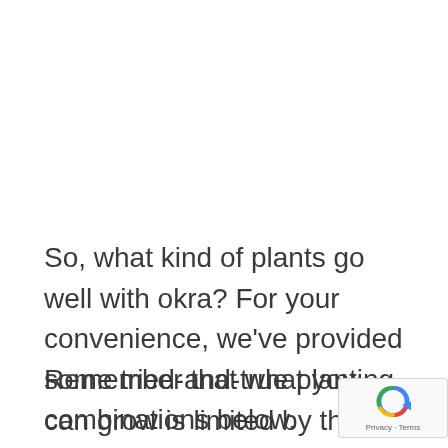So, what kind of plants go well with okra? For your convenience, we've provided some tried-and-true planting combinations below.
Remember that what you can grow is limited by the environment in your area. Which plants grow depends on soil type, drainage, and climate.